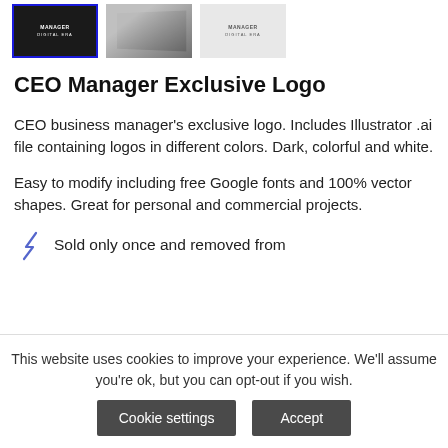[Figure (screenshot): Three product thumbnail images of CEO Manager logo: first selected (dark background with blue border), second angled gray card, third light/white background version]
CEO Manager Exclusive Logo
CEO business manager's exclusive logo. Includes Illustrator .ai file containing logos in different colors. Dark, colorful and white.
Easy to modify including free Google fonts and 100% vector shapes. Great for personal and commercial projects.
Sold only once and removed from
This website uses cookies to improve your experience. We'll assume you're ok, but you can opt-out if you wish.